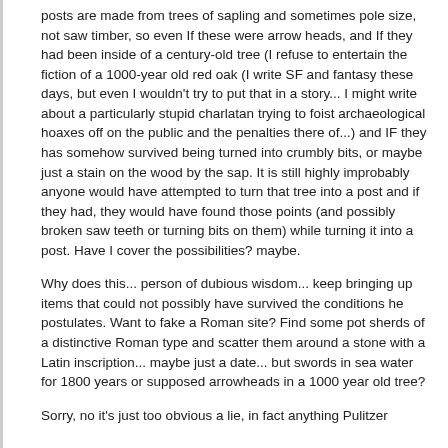posts are made from trees of sapling and sometimes pole size, not saw timber, so even If these were arrow heads, and If they had been inside of a century-old tree (I refuse to entertain the fiction of a 1000-year old red oak (I write SF and fantasy these days, but even I wouldn't try to put that in a story... I might write about a particularly stupid charlatan trying to foist archaeological hoaxes off on the public and the penalties there of...) and IF they has somehow survived being turned into crumbly bits, or maybe just a stain on the wood by the sap. It is still highly improbably anyone would have attempted to turn that tree into a post and if they had, they would have found those points (and possibly broken saw teeth or turning bits on them) while turning it into a post. Have I cover the possibilities? maybe.
Why does this... person of dubious wisdom... keep bringing up items that could not possibly have survived the conditions he postulates. Want to fake a Roman site? Find some pot sherds of a distinctive Roman type and scatter them around a stone with a Latin inscription... maybe just a date... but swords in sea water for 1800 years or supposed arrowheads in a 1000 year old tree?
Sorry, no it's just too obvious a lie, in fact anything Pulitzer